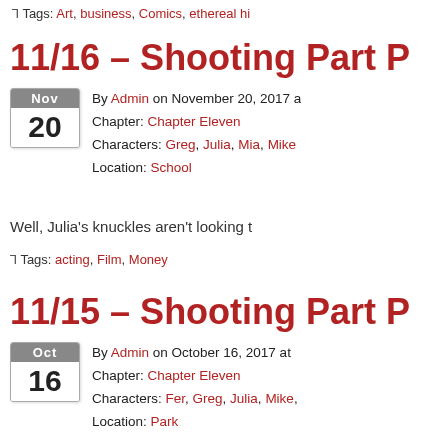Tags: Art, business, Comics, ethereal hi...
11/16 – Shooting Part ...
By Admin on November 20, 2017 a... Chapter: Chapter Eleven Characters: Greg, Julia, Mia, Mike... Location: School
Well, Julia's knuckles aren't looking t...
Tags: acting, Film, Money
11/15 – Shooting Part ...
By Admin on October 16, 2017 at ... Chapter: Chapter Eleven Characters: Fer, Greg, Julia, Mike,... Location: Park
If she actually hits him, it'll be more b...
Tags: acting, ethereal high, Film, Violenc...